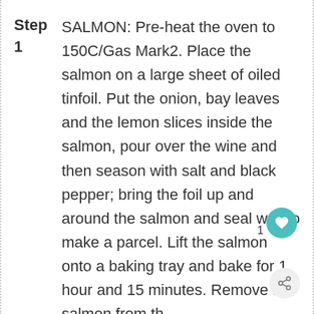Step 1 SALMON: Pre-heat the oven to 150C/Gas Mark2. Place the salmon on a large sheet of oiled tinfoil. Put the onion, bay leaves and the lemon slices inside the salmon, pour over the wine and then season with salt and black pepper; bring the foil up and around the salmon and seal well to make a parcel. Lift the salmon onto a baking tray and bake for 1 hour and 15 minutes. Remove the salmon from th oven, and allow to cool for about 10 minutes inside the tinfoil parcel.